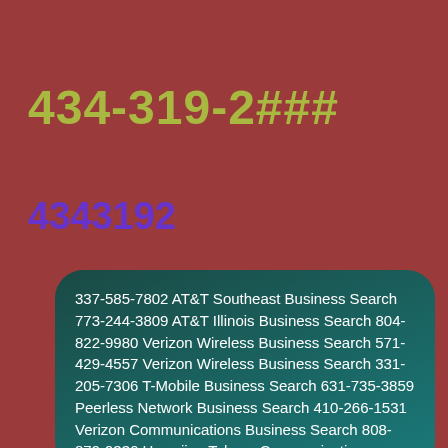434-319-2###
4343192
337-585-7802 AT&T Southeast Business Search 773-244-3809 AT&T Illinois Business Search 804-822-9980 Verizon Wireless Business Search 571-429-4557 Verizon Wireless Business Search 331-205-7306 T-Mobile Business Search 631-735-3859 Peerless Network Business Search 410-266-1531 Verizon Communications Business Search 808-879-9336 Hawaiian Telcom Communications